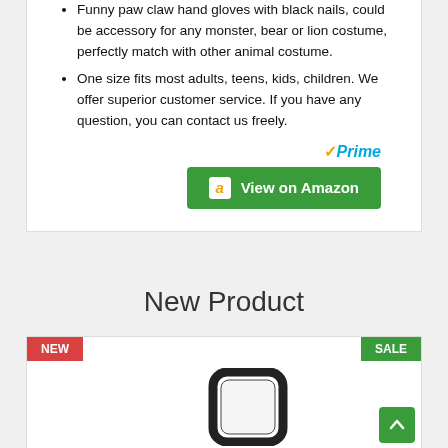Funny paw claw hand gloves with black nails, could be accessory for any monster, bear or lion costume, perfectly match with other animal costume.
One size fits most adults, teens, kids, children. We offer superior customer service. If you have any question, you can contact us freely.
[Figure (logo): Amazon Prime logo with checkmark and 'Prime' text in blue italic]
[Figure (other): Green 'View on Amazon' button with Amazon icon]
New Product
[Figure (photo): Product photo showing a black rectangular phone bumper/frame case, partially visible at bottom of page, with NEW badge (red) top-left and SALE badge (green) top-right]